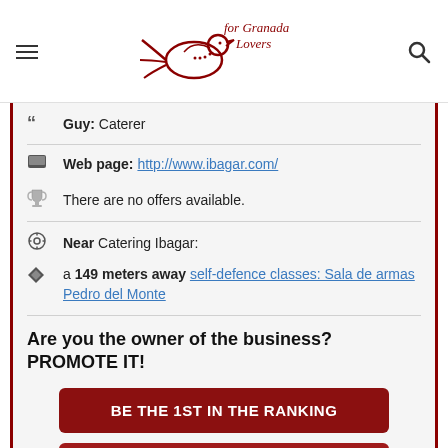[Figure (logo): For Granada Lovers website logo with a decorative bird illustration in dark red/maroon color]
Guy: Caterer
Web page: http://www.ibagar.com/
There are no offers available.
Near Catering Ibagar:
a 149 meters away self-defence classes: Sala de armas Pedro del Monte
Are you the owner of the business? PROMOTE IT!
BE THE 1ST IN THE RANKING
EXCLUSIVE PAGE